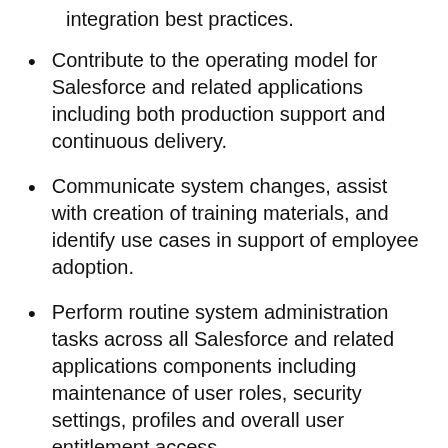integration best practices.
Contribute to the operating model for Salesforce and related applications including both production support and continuous delivery.
Communicate system changes, assist with creation of training materials, and identify use cases in support of employee adoption.
Perform routine system administration tasks across all Salesforce and related applications components including maintenance of user roles, security settings, profiles and overall user entitlement access.
Provide technical subject matter expertise of Salesforce and related